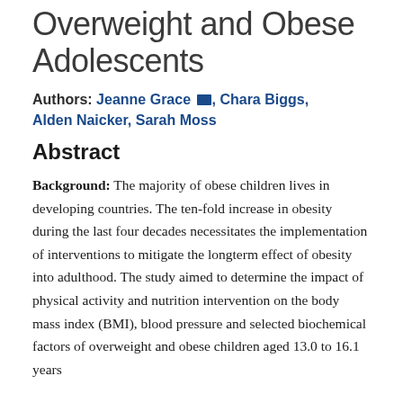Overweight and Obese Adolescents
Authors: Jeanne Grace, Chara Biggs, Alden Naicker, Sarah Moss
Abstract
Background: The majority of obese children lives in developing countries. The ten-fold increase in obesity during the last four decades necessitates the implementation of interventions to mitigate the longterm effect of obesity into adulthood. The study aimed to determine the impact of physical activity and nutrition intervention on the body mass index (BMI), blood pressure and selected biochemical factors of overweight and obese children aged 13.0 to 16.1 years